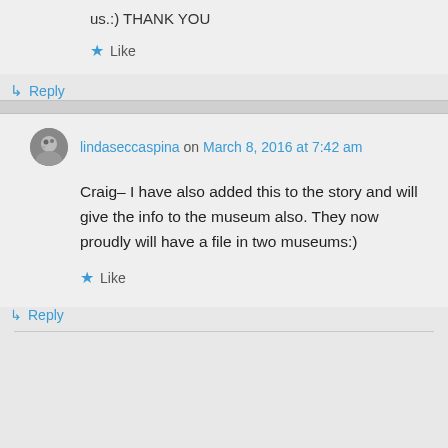us.:) THANK YOU
★ Like
↳ Reply
lindaseccaspina on March 8, 2016 at 7:42 am
Craig– I have also added this to the story and will give the info to the museum also. They now proudly will have a file in two museums:)
★ Like
↳ Reply